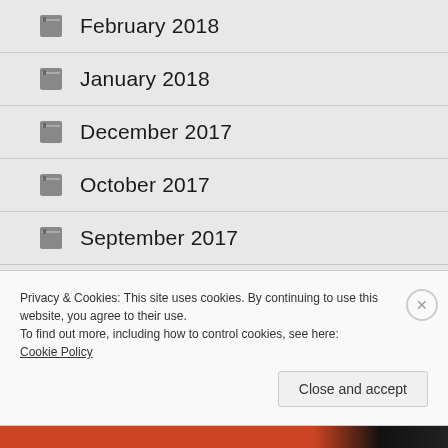February 2018
January 2018
December 2017
October 2017
September 2017
August 2017
July 2017
Privacy & Cookies: This site uses cookies. By continuing to use this website, you agree to their use.
To find out more, including how to control cookies, see here: Cookie Policy
Close and accept